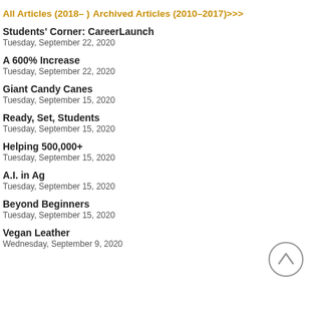All Articles (2018– )
Archived Articles (2010–2017)>>>
Students' Corner: CareerLaunch
Tuesday, September 22, 2020
A 600% Increase
Tuesday, September 22, 2020
Giant Candy Canes
Tuesday, September 15, 2020
Ready, Set, Students
Tuesday, September 15, 2020
Helping 500,000+
Tuesday, September 15, 2020
A.I. in Ag
Tuesday, September 15, 2020
Beyond Beginners
Tuesday, September 15, 2020
Vegan Leather
Wednesday, September 9, 2020